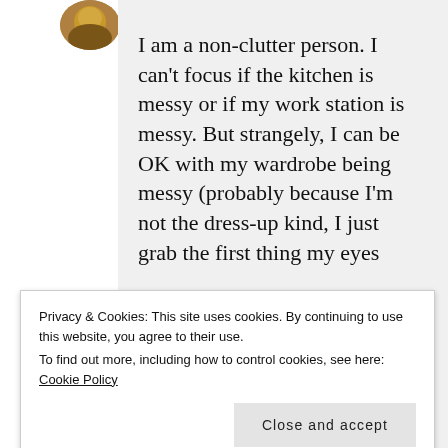[Figure (photo): Partial circular avatar/profile photo visible at top-left corner of the page]
I am a non-clutter person. I can't focus if the kitchen is messy or if my work station is messy. But strangely, I can be OK with my wardrobe being messy (probably because I'm not the dress-up kind, I just grab the first thing my eyes
Privacy & Cookies: This site uses cookies. By continuing to use this website, you agree to their use.
To find out more, including how to control cookies, see here: Cookie Policy
Close and accept
me before I'm done.